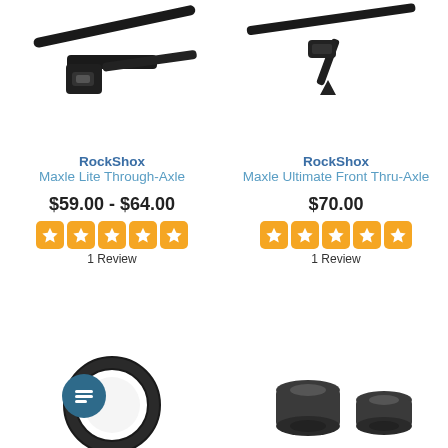[Figure (photo): Black RockShox Maxle Lite Through-Axle bicycle component close-up photo on white background]
RockShox
Maxle Lite Through-Axle
$59.00 - $64.00
[Figure (infographic): 5 orange star rating squares]
1 Review
[Figure (photo): Black RockShox Maxle Ultimate Front Thru-Axle bicycle component close-up photo on white background]
RockShox
Maxle Ultimate Front Thru-Axle
$70.00
[Figure (infographic): 5 orange star rating squares]
1 Review
[Figure (photo): Black rubber ring/seal bicycle part on white background]
[Figure (photo): Two dark grey/black rubber bushing/cup bicycle parts on white background]